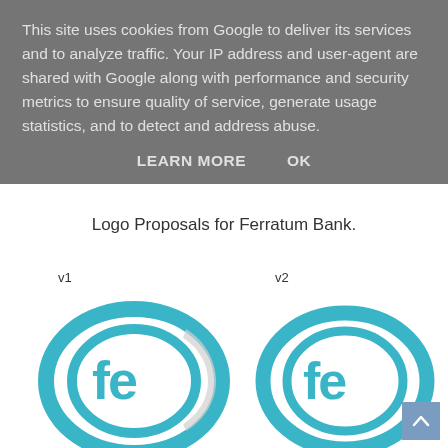This site uses cookies from Google to deliver its services and to analyze traffic. Your IP address and user-agent are shared with Google along with performance and security metrics to ensure quality of service, generate usage statistics, and to detect and address abuse.
LEARN MORE    OK
Logo Proposals for Ferratum Bank.
[Figure (logo): v1 - Ferratum Bank logo showing 'fe' letters inside an oval/ellipse shape in teal/cyan color, with a partial face silhouette overlay]
[Figure (logo): v2 - Ferratum Bank logo showing 'fe' letters inside an oval/ellipse shape in teal/cyan color, cleaner version without face silhouette]